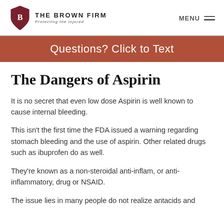THE BROWN FIRM — Protecting the Injured | MENU
Questions? Click to Text
The Dangers of Aspirin
It is no secret that even low dose Aspirin is well known to cause internal bleeding.
This isn't the first time the FDA issued a warning regarding stomach bleeding and the use of aspirin. Other related drugs such as ibuprofen do as well.
They're known as a non-steroidal anti-inflam, or anti-inflammatory, drug or NSAID.
The issue lies in many people do not realize antacids and